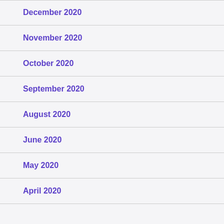December 2020
November 2020
October 2020
September 2020
August 2020
June 2020
May 2020
April 2020